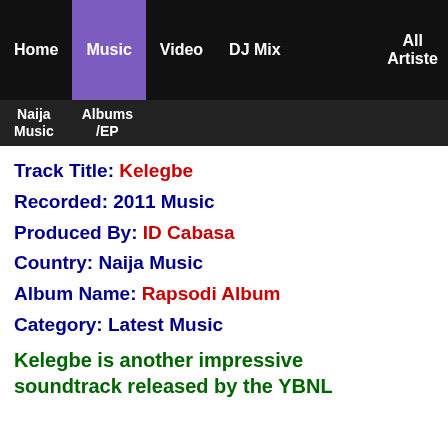Home | Music | Video | DJ Mix | All Artiste
Naija Music | Albums/EP
Track Title: Kelegbe
Recorded: 2011 Music
Produced By: ID Cabasa
Country: Naija Music
Album Name: Rapsodi Album
Category: Latest Music
Kelegbe is another impressive soundtrack released by the YBNL